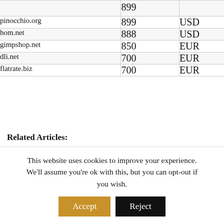| Domain | Price | Currency |
| --- | --- | --- |
|  | 899 |  |
| pinocchio.org | 899 | USD |
| hom.net | 888 | USD |
| gimpshop.net | 850 | EUR |
| dli.net | 700 | EUR |
| flatrate.biz | 700 | EUR |
Related Articles:
This website uses cookies to improve your experience. We'll assume you're ok with this, but you can opt-out if you wish.